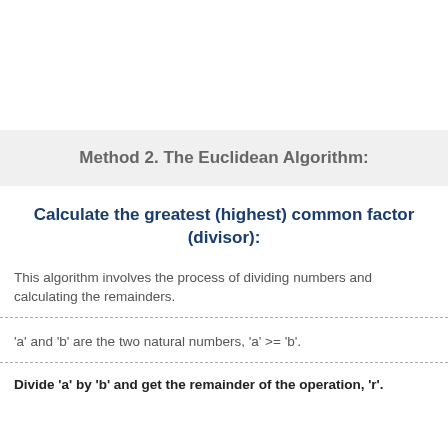Method 2. The Euclidean Algorithm:
Calculate the greatest (highest) common factor (divisor):
This algorithm involves the process of dividing numbers and calculating the remainders.
'a' and 'b' are the two natural numbers, 'a' >= 'b'.
Divide 'a' by 'b' and get the remainder of the operation, 'r'.